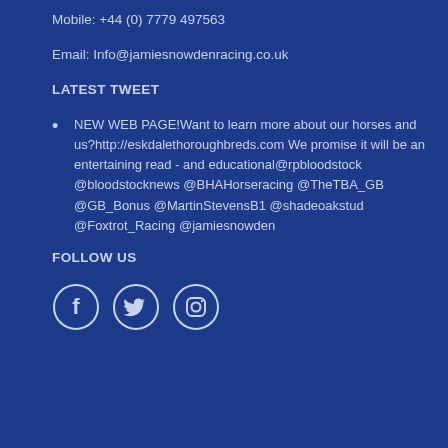Mobile: +44 (0) 7779 497563
Email: Info@jamiesnowdenracing.co.uk
LATEST TWEET
NEW WEB PAGE!Want to learn more about our horses and us?http://eskdalethoroughbreds.com We promise it will be an entertaining read - and educational@rpbloodstock @bloodstocknews @BHAHorseracing @TheTBA_GB @GB_Bonus @MartinStevensB1 @shadeoakstud @Foxtrot_Racing @jamiesnowden
FOLLOW US
[Figure (illustration): Three social media icons in circles: Facebook (f), Twitter (bird), Instagram (camera)]